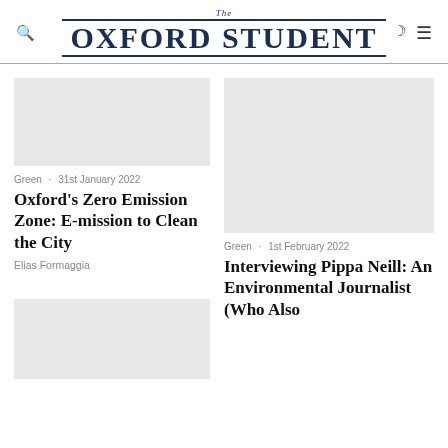The Oxford Student
[Figure (photo): Left column top image placeholder (grey rectangle)]
Green · 31st January 2022
Oxford's Zero Emission Zone: E-mission to Clean the City
Elias Formaggia
[Figure (photo): Right column large image placeholder (grey rectangle)]
Green · 1st February 2022
Interviewing Pippa Neill: An Environmental Journalist (Who Also
[Figure (photo): Left column bottom image placeholder (grey rectangle)]